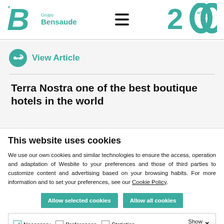[Figure (logo): Grupo Bensaude teal B logo with company name, hamburger menu icon, and 200 anos anniversary logo]
[Figure (logo): View Article teal circular link icon with text 'View Article']
Terra Nostra one of the best boutique hotels in the world
This website uses cookies
We use our own cookies and similar technologies to ensure the access, operation and adaptation of Wesbite to your preferences and those of third parties to customize content and advertising based on your browsing habits. For more information and to set your preferences, see our Cookie Policy.
Allow selected cookies
Allow all cookies
Necessary   Preferences   Statistics   Marketing   Show details